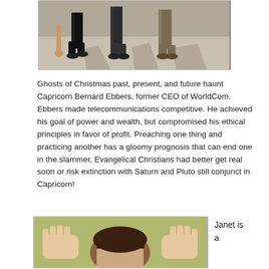[Figure (photo): Photo of people walking, shot from waist down, showing legs and feet on a pavement, with shadows cast on the ground.]
Ghosts of Christmas past, present, and future haunt Capricorn Bernard Ebbers, former CEO of WorldCom. Ebbers made telecommunications competitive. He achieved his goal of power and wealth, but compromised his ethical principles in favor of profit. Preaching one thing and practicing another has a gloomy prognosis that can end one in the slammer. Evangelical Christians had better get real soon or risk extinction with Saturn and Pluto still conjunct in Capricorn!
[Figure (photo): Photo of a person pressing their hands and face against a wall, obscuring their face with hands spread wide.]
Janet is a